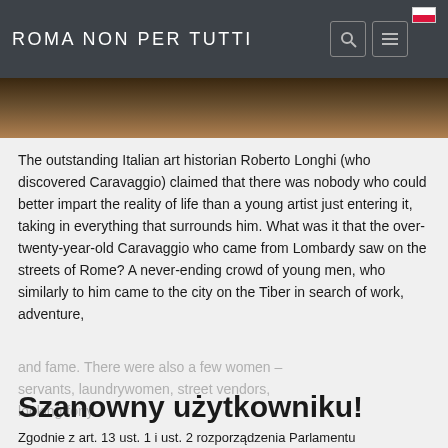ROMA NON PER TUTTI
[Figure (photo): Partial view of a dark-toned painting or artwork image strip at top of page content]
The outstanding Italian art historian Roberto Longhi (who discovered Caravaggio) claimed that there was nobody who could better impart the reality of life than a young artist just entering it, taking in everything that surrounds him. What was it that the over-twenty-year-old Caravaggio who came from Lombardy saw on the streets of Rome? A never-ending crowd of young men, who similarly to him came to the city on the Tiber in search of work, adventure, and fame. There were also a few women – servants, laundrywomen, street vendors, looking for y...
Szanowny użytkowniku!
Zgodnie z art. 13 ust. 1 i ust. 2 rozporządzenia Parlamentu Europejskiego i Rady (UE) 2016/679 z 27 kwietnia 2016 r. w